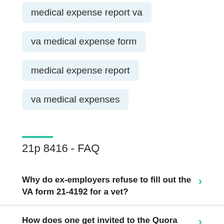medical expense report va
va medical expense form
medical expense report
va medical expenses
21p 8416 - FAQ
Why do ex-employers refuse to fill out the VA form 21-4192 for a vet?
How does one get invited to the Quora